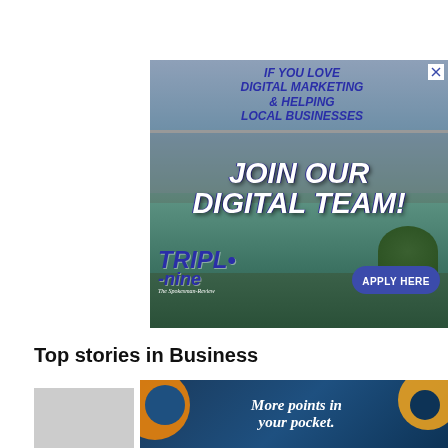[Figure (photo): Advertisement banner for Triple-Nine Digital from The Spokesman-Review. Shows a bridge over a river (Spokane area) with text: IF YOU LOVE DIGITAL MARKETING & HELPING LOCAL BUSINESSES JOIN OUR DIGITAL TEAM! TRIPLE-nine digital. The Spokesman-Review. APPLY HERE button.]
Top stories in Business
[Figure (photo): Bottom banner advertisement with dark blue background and orange circle accents reading: More points in your pocket.]